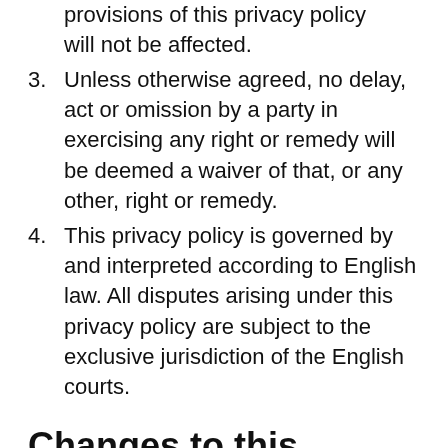provisions of this privacy policy will not be affected.
3. Unless otherwise agreed, no delay, act or omission by a party in exercising any right or remedy will be deemed a waiver of that, or any other, right or remedy.
4. This privacy policy is governed by and interpreted according to English law. All disputes arising under this privacy policy are subject to the exclusive jurisdiction of the English courts.
Changes to this privacy policy